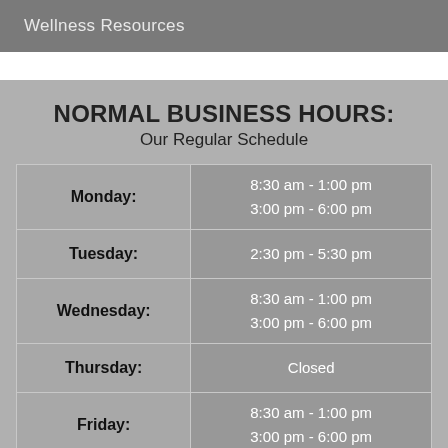Wellness Resources
NORMAL BUSINESS HOURS:
Our Regular Schedule
| Day | Hours |
| --- | --- |
| Monday: | 8:30 am - 1:00 pm
3:00 pm - 6:00 pm |
| Tuesday: | 2:30 pm - 5:30 pm |
| Wednesday: | 8:30 am - 1:00 pm
3:00 pm - 6:00 pm |
| Thursday: | Closed |
| Friday: | 8:30 am - 1:00 pm
3:00 pm - 6:00 pm |